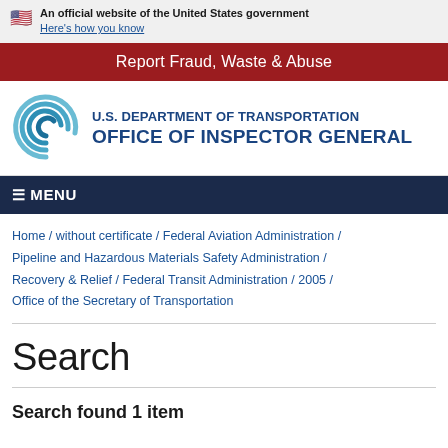An official website of the United States government
Here's how you know
Report Fraud, Waste & Abuse
[Figure (logo): U.S. Department of Transportation Office of Inspector General logo with spiral graphic]
U.S. DEPARTMENT OF TRANSPORTATION
OFFICE OF INSPECTOR GENERAL
≡ MENU
Home / without certificate / Federal Aviation Administration / Pipeline and Hazardous Materials Safety Administration / Recovery & Relief / Federal Transit Administration / 2005 / Office of the Secretary of Transportation
Search
Search found 1 item